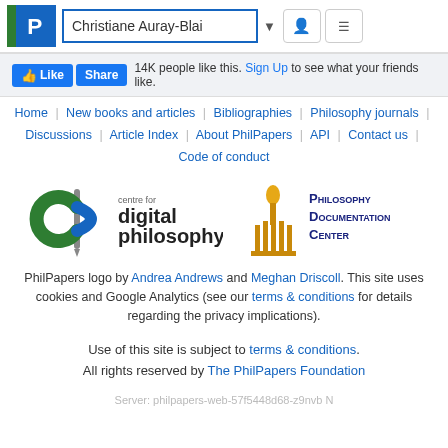Christiane Auray-Blai
14K people like this. Sign Up to see what your friends like.
Home | New books and articles | Bibliographies | Philosophy journals | Discussions | Article Index | About PhilPapers | API | Contact us | Code of conduct
[Figure (logo): Centre for Digital Philosophy logo and Philosophy Documentation Center logo]
PhilPapers logo by Andrea Andrews and Meghan Driscoll. This site uses cookies and Google Analytics (see our terms & conditions for details regarding the privacy implications).
Use of this site is subject to terms & conditions. All rights reserved by The PhilPapers Foundation
Server: philpapers-web-57f5448d68-z9nvb N